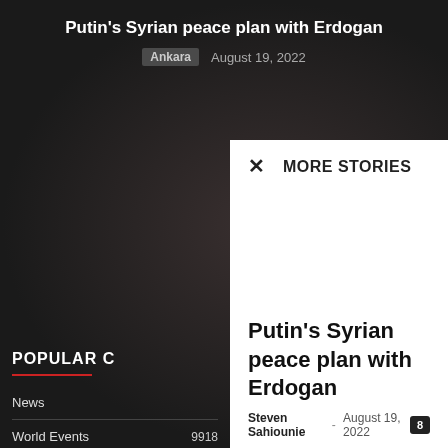Putin's Syrian peace plan with Erdogan
Ankara  August 19, 2022
MORE STORIES
Putin's Syrian peace plan with Erdogan
Steven Sahiounie - August 19, 2022
POPULAR C
News
World Events  9918
US News  9722